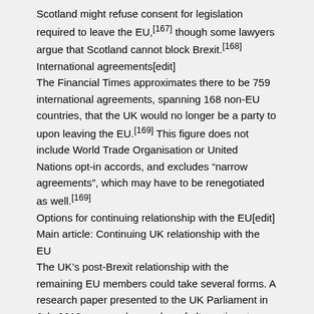Scotland might refuse consent for legislation required to leave the EU,[167] though some lawyers argue that Scotland cannot block Brexit.[168]
International agreements[edit]
The Financial Times approximates there to be 759 international agreements, spanning 168 non-EU countries, that the UK would no longer be a party to upon leaving the EU.[169] This figure does not include World Trade Organisation or United Nations opt-in accords, and excludes “narrow agreements”, which may have to be renegotiated as well.[169]
Options for continuing relationship with the EU[edit]
Main article: Continuing UK relationship with the EU
The UK’s post-Brexit relationship with the remaining EU members could take several forms. A research paper presented to the UK Parliament in July 2013 proposed a number of alternatives to membership which would continue to allow access to the EU internal market. These include remaining in the European Economic Area, [170]negotiating deep bilateral agreements on the Swiss model,[170] or exit from the EU without EEA membership